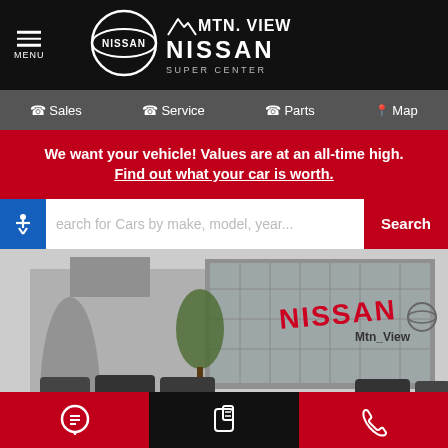[Figure (logo): Black header bar with hamburger menu on left, Nissan circle logo in center-left, and MTN. VIEW NISSAN SUPER CENTER logo on right]
Sales | Service | Parts | Map
We want your vehicle! Values are at an all-time high. Find out what your car is worth.
[Figure (screenshot): Search bar with accessibility icon on left, placeholder text 'earch for Cars by make, model, year...', and red Search button on right]
[Figure (photo): Mtn. View Nissan dealership exterior showing modern building with Nissan signage and cars in parking lot]
Chat | Text | Call